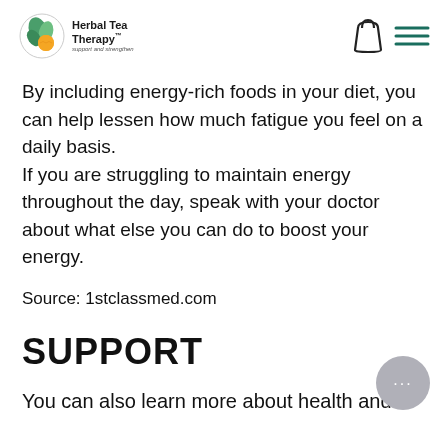Herbal Tea Therapy™ — Support and Strengthen
By including energy-rich foods in your diet, you can help lessen how much fatigue you feel on a daily basis.
If you are struggling to maintain energy throughout the day, speak with your doctor about what else you can do to boost your energy.
Source: 1stclassmed.com
SUPPORT
You can also learn more about health and